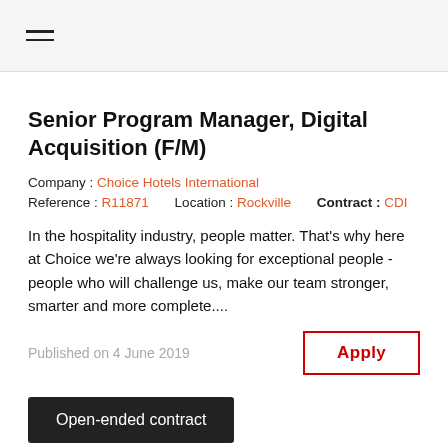☰
Senior Program Manager, Digital Acquisition (F/M)
Company : Choice Hotels International
Reference : R11871    Location : Rockville    Contract : CDI
In the hospitality industry, people matter. That's why here at Choice we're always looking for exceptional people - people who will challenge us, make our team stronger, smarter and more complete....
Published on 4 June 2019
Apply
Open-ended contract
[Figure (logo): Choice Hotels International logo with orange and yellow triangular graphic elements and dark olive/green 'Choice' wordmark text]